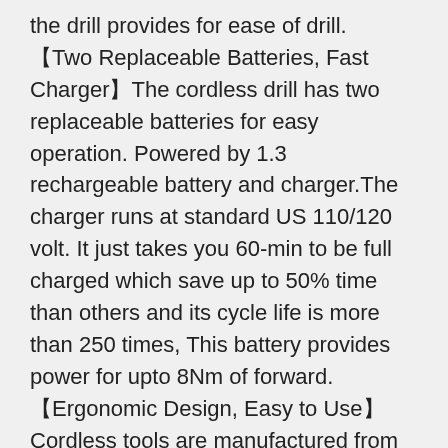the drill provides for ease of drill.
【Two Replaceable Batteries, Fast Charger】The cordless drill has two replaceable batteries for easy operation. Powered by 1.3 rechargeable battery and charger.The charger runs at standard US 110/120 volt. It just takes you 60-min to be full charged which save up to 50% time than others and its cycle life is more than 250 times, This battery provides power for upto 8Nm of forward.
【Ergonomic Design, Easy to Use】Cordless tools are manufactured from steel alloy, chrome plated to resist corrosion, with non-slip comfort grip handles for longer life. Lightweight, Durability, Sturdiness, Safe and Compact tools fits into tight areas perfectly. Ergonomic comfort grip handle provides ideal balance and tool control for fastening tasks. Tools are neatly stored in a sturdy case that keeps